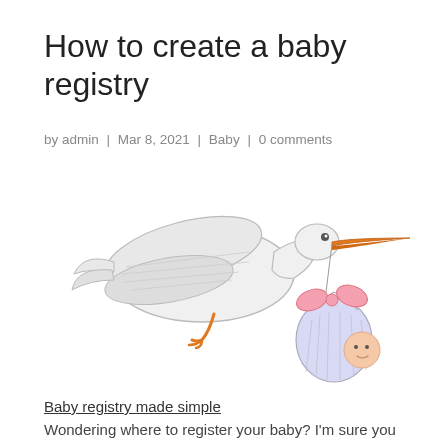How to create a baby registry
by admin | Mar 8, 2021 | Baby | 0 comments
[Figure (illustration): Illustration of a stork flying and carrying a bundle (swaddled baby in a blue cloth bag with a pink bow), depicted in a sketch/cartoon style on a white background.]
Baby registry made simple
Wondering where to register your baby? I'm sure you